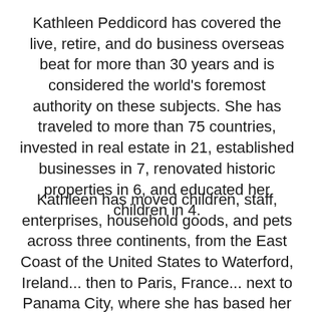Kathleen Peddicord has covered the live, retire, and do business overseas beat for more than 30 years and is considered the world's foremost authority on these subjects. She has traveled to more than 75 countries, invested in real estate in 21, established businesses in 7, renovated historic properties in 6, and educated her children in 4.
Kathleen has moved children, staff, enterprises, household goods, and pets across three continents, from the East Coast of the United States to Waterford, Ireland... then to Paris, France... next to Panama City, where she has based her Live and Invest Overseas business. Most recently, Kathleen and her husband Lief Simon are dividing their time between Panama